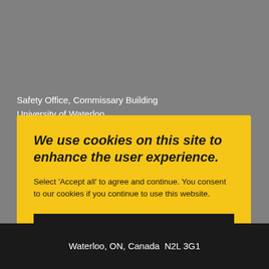Safety Office, Commissary Building
University of Waterloo
200 University Avenue West
Waterloo, Ontario, Canada N2L 3G1
Phone: 519-888-4567 Ext. 33587
We use cookies on this site to enhance the user experience.
Select 'Accept all' to agree and continue. You consent to our cookies if you continue to use this website.
ACCEPT ALL
Waterloo, ON, Canada  N2L 3G1